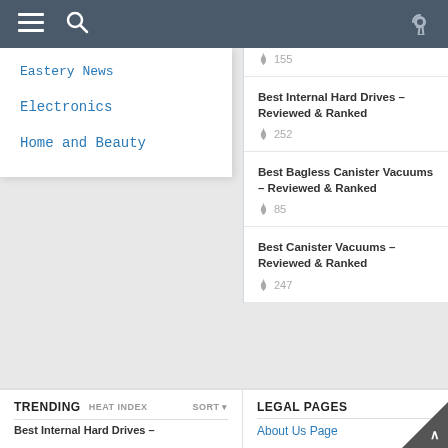Navigation bar with hamburger menu, search icon, and key icon
Eastery News
Electronics
Home and Beauty
🔥 155
Best Internal Hard Drives – Reviewed & Ranked
🔥 252
Best Bagless Canister Vacuums – Reviewed & Ranked
🔥 85
Best Canister Vacuums – Reviewed & Ranked
🔥 247
TRENDING   HEAT INDEX   SORT
Best Internal Hard Drives –
LEGAL PAGES
About Us Page